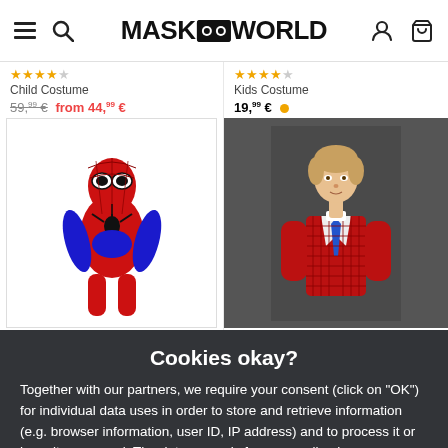MASKWORLD
Child Costume
59,99€ from 44,99€
Kids Costume
19,99€
[Figure (photo): Spider-Man child costume in red and blue]
[Figure (photo): Teenager boy wearing a red spider-man pattern suit with blue tie]
Cookies okay?
Together with our partners, we require your consent (click on "OK") for individual data uses in order to store and retrieve information (e.g. browser information, user ID, IP address) and to process it or have it processed. The data usage is for personalised functionalities, content and ads
OK
More information